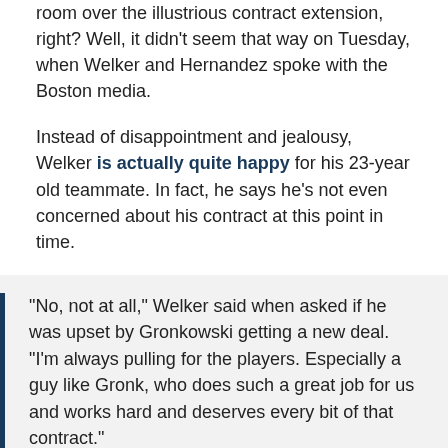room over the illustrious contract extension, right? Well, it didn't seem that way on Tuesday, when Welker and Hernandez spoke with the Boston media.
Instead of disappointment and jealousy, Welker is actually quite happy for his 23-year old teammate. In fact, he says he's not even concerned about his contract at this point in time.
"No, not at all," Welker said when asked if he was upset by Gronkowski getting a new deal. "I'm always pulling for the players. Especially a guy like Gronk, who does such a great job for us and works hard and deserves every bit of that contract."
"I'm not worried about that at all," Welker said. "Right now I'm here, I'm happy. I'm just here and try to help our team win in 2012."